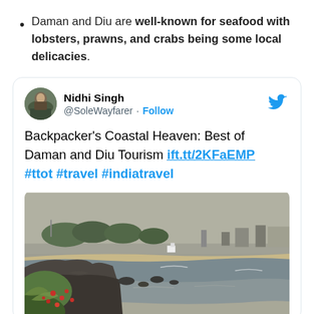Daman and Diu are well-known for seafood with lobsters, prawns, and crabs being some local delicacies.
[Figure (screenshot): Embedded tweet by @SoleWayfarer (Nidhi Singh) with text 'Backpacker's Coastal Heaven: Best of Daman and Diu Tourism ift.tt/2KFaEMP #ttot #travel #indiatravel' and a photo of a rocky coastal shoreline with green foliage, red flowers, rocky cliffs, ocean waves, a sandy beach, and trees in the background.]